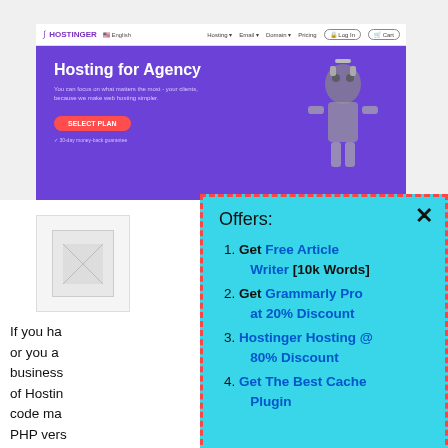[Figure (screenshot): Hostinger website screenshot showing navbar with logo, language selector, nav links, and a purple hero banner with 'Hosting for Agency' headline, subtitle text, red CTA button, and a robot image on the right. Below is a white content area with a thumbnail image placeholder.]
If you ha or you a business of Hostin code ma PHP vers MySQL m
[Figure (screenshot): Popup overlay with cyan/turquoise background and red dashed border showing 'Offers:' heading and a numbered list: 1. Get Free Article Writer [10k Words] 2. Get Grammarly Pro at 20% Discount 3. Hostinger Hosting @ 80% Discount 4. Get The Best Cache Plugin. A close (×) button is in the top-right corner.]